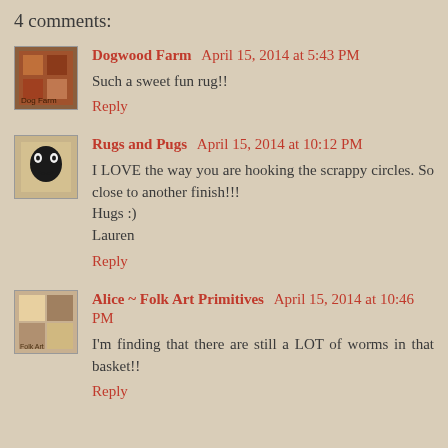4 comments:
Dogwood Farm  April 15, 2014 at 5:43 PM
Such a sweet fun rug!!
Reply
Rugs and Pugs  April 15, 2014 at 10:12 PM
I LOVE the way you are hooking the scrappy circles. So close to another finish!!!
Hugs :)
Lauren
Reply
Alice ~ Folk Art Primitives  April 15, 2014 at 10:46 PM
I'm finding that there are still a LOT of worms in that basket!!
Reply